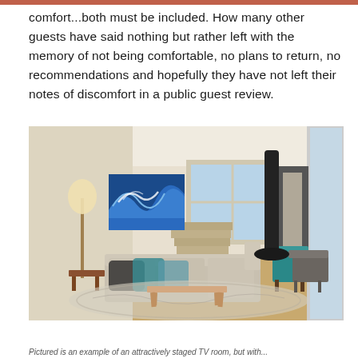comfort...both must be included. How many other guests have said nothing but rather left with the memory of not being comfortable, no plans to return, no recommendations and hopefully they have not left their notes of discomfort in a public guest review.
[Figure (photo): Interior photo of a modern living room with mid-century furniture including a light grey tufted sofa, teal accent chair, wooden coffee table, floor lamp, and a large ocean wave painting on the wall. Staircase visible in background with windows showing a water view.]
Pictured is an example of an attractively staged TV room, but with...